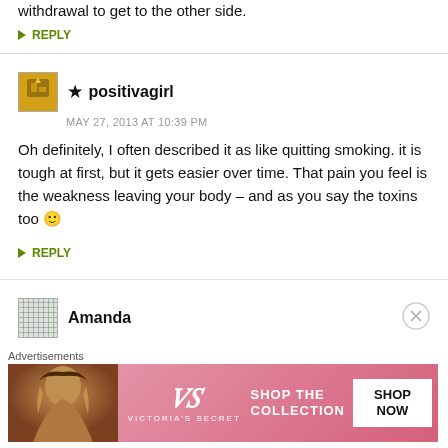withdrawal to get to the other side.
↪ REPLY
★ positivagirl
MAY 27, 2013 AT 10:39 PM
Oh definitely, I often described it as like quitting smoking. it is tough at first, but it gets easier over time. That pain you feel is the weakness leaving your body – and as you say the toxins too 🙂
↪ REPLY
Amanda
Advertisements
[Figure (photo): Victoria's Secret advertisement banner with model photo, VS logo, 'SHOP THE COLLECTION' text, and 'SHOP NOW' button]